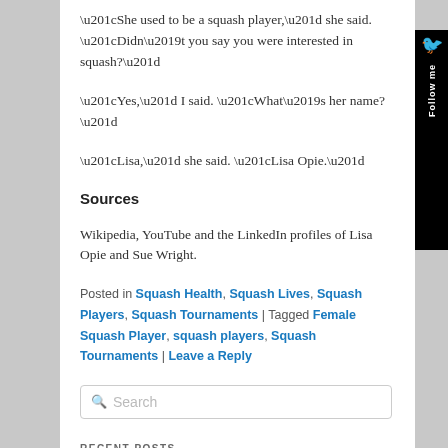“She used to be a squash player,” she said. “Didn’t you say you were interested in squash?”
“Yes,” I said. “What’s her name?”
“Lisa,” she said. “Lisa Opie.”
Sources
Wikipedia, YouTube and the LinkedIn profiles of Lisa Opie and Sue Wright.
Posted in Squash Health, Squash Lives, Squash Players, Squash Tournaments | Tagged Female Squash Player, squash players, Squash Tournaments | Leave a Reply
Search
RECENT POSTS